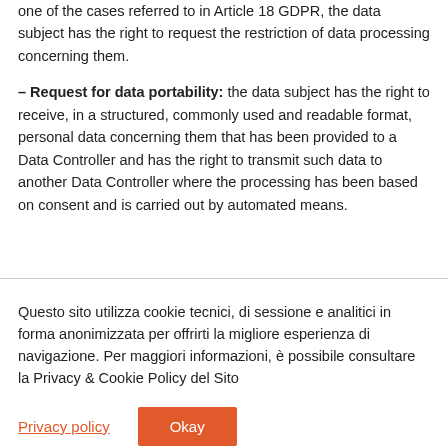one of the cases referred to in Article 18 GDPR, the data subject has the right to request the restriction of data processing concerning them.
– Request for data portability: the data subject has the right to receive, in a structured, commonly used and readable format, personal data concerning them that has been provided to a Data Controller and has the right to transmit such data to another Data Controller where the processing has been based on consent and is carried out by automated means.
Questo sito utilizza cookie tecnici, di sessione e analitici in forma anonimizzata per offrirti la migliore esperienza di navigazione. Per maggiori informazioni, è possibile consultare la Privacy & Cookie Policy del Sito
Privacy policy
Okay